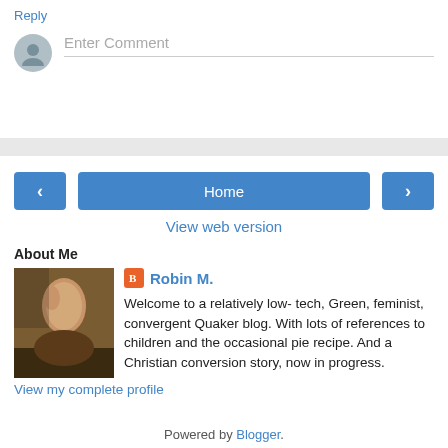Reply
Enter Comment
Home
View web version
About Me
Robin M.
Welcome to a relatively low- tech, Green, feminist, convergent Quaker blog. With lots of references to children and the occasional pie recipe. And a Christian conversion story, now in progress.
View my complete profile
Powered by Blogger.